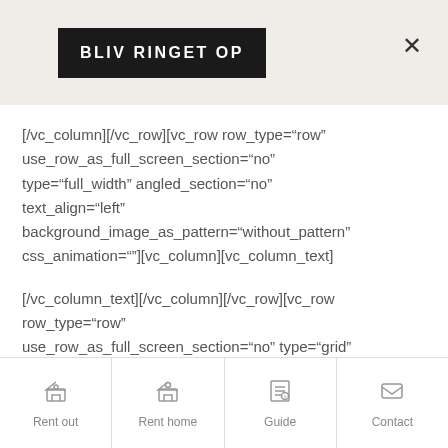BLIV RINGET OP
[/vc_column][/vc_row][vc_row row_type="row" use_row_as_full_screen_section="no" type="full_width" angled_section="no" text_align="left" background_image_as_pattern="without_pattern" css_animation=""][vc_column][vc_column_text]
[/vc_column_text][/vc_column][/vc_row][vc_row row_type="row" use_row_as_full_screen_section="no" type="grid" angled_section="no" text_align="left" background_image_as_pattern="without_pattern"
Rent out | Rent home | Guide | Contact